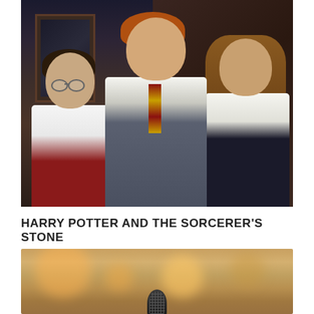[Figure (photo): Photo of three children in Hogwarts school uniforms from Harry Potter and the Sorcerer's Stone. Left: Harry Potter with round glasses and dark hair wearing white shirt and Gryffindor tie. Center: Ron Weasley with red hair in gray V-neck sweater and Gryffindor tie. Right: Hermione Granger with long wavy brown hair in Hogwarts uniform. Dark background with wooden train compartment elements.]
HARRY POTTER AND THE SORCERER'S STONE
[Figure (photo): Close-up photo of a microphone head against a blurred warm bokeh background with golden/amber tones and circular light blurs.]